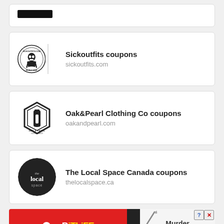[Figure (logo): Partial top card with black bar logo]
[Figure (logo): Sickoutfits.com circular badge logo]
Sickoutfits coupons
sickoutfits.com
[Figure (logo): Oak & Pearl Clothing Co shield/bottle logo]
Oak&Pearl Clothing Co coupons
oakandpearl.com
[Figure (logo): The Local Space circular dark logo]
The Local Space Canada coupons
thelocalspace.ca
[Figure (screenshot): BitLife advertisement banner with Murder Do it! call to action]